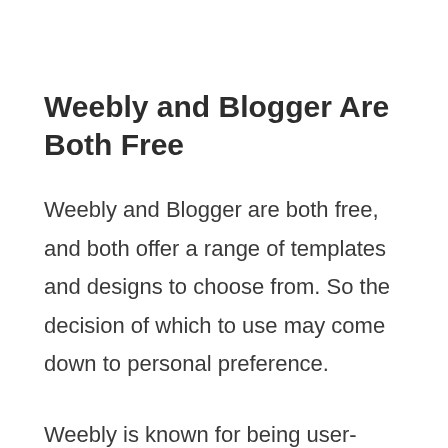Weebly and Blogger Are Both Free
Weebly and Blogger are both free, and both offer a range of templates and designs to choose from. So the decision of which to use may come down to personal preference.
Weebly is known for being user-friendly and